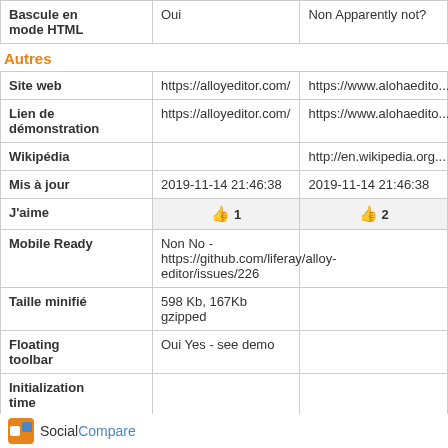|  |  |  |
| --- | --- | --- |
| Bascule en mode HTML | Oui | Non Apparently not? |
Autres
|  |  |  |
| --- | --- | --- |
| Site web | https://alloyeditor.com/ | https://www.alohaedito... |
| Lien de démonstration | https://alloyeditor.com/ | https://www.alohaedito... |
| Wikipédia |  | http://en.wikipedia.org... |
| Mis à jour | 2019-11-14 21:46:38 | 2019-11-14 21:46:38 |
| J'aime | 👍 1 | 👍 2 |
| Mobile Ready | Non No - https://github.com/liferay/alloy-editor/issues/226 |  |
| Taille minifié | 598 Kb, 167Kb gzipped |  |
| Floating toolbar | Oui Yes - see demo |  |
| Initialization time |  |  |
SocialCompare